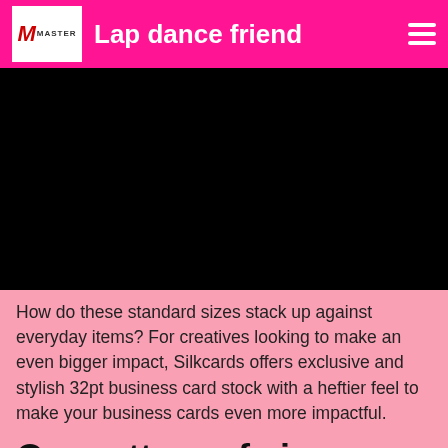Lap dance friend
[Figure (photo): Large black rectangle representing a video or image placeholder]
How do these standard sizes stack up against everyday items? For creatives looking to make an even bigger impact, Silkcards offers exclusive and stylish 32pt business card stock with a heftier feel to make your business cards even more impactful.
On matters of size (photos)